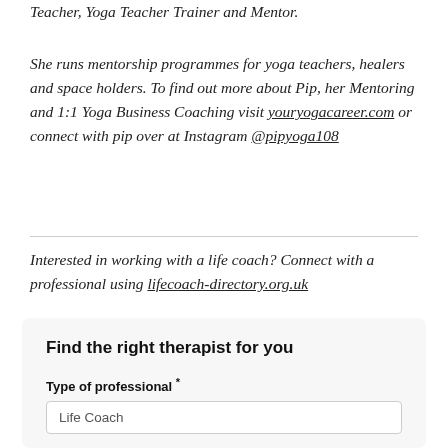Teacher, Yoga Teacher Trainer and Mentor.
She runs mentorship programmes for yoga teachers, healers and space holders. To find out more about Pip, her Mentoring and 1:1 Yoga Business Coaching visit youryogacareer.com or connect with pip over at Instagram @pipyoga108
Interested in working with a life coach? Connect with a professional using lifecoach-directory.org.uk
Find the right therapist for you
Type of professional *
Life Coach